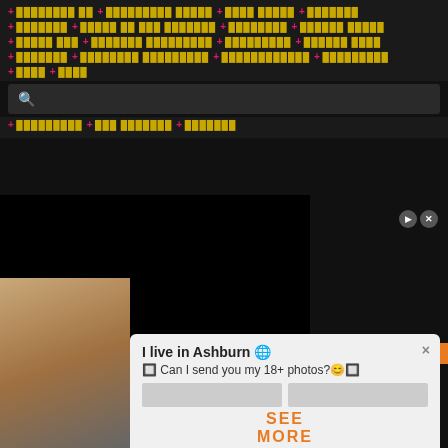+ ████████ ██  + █████████ █████  + ████ █████  + ███████
+ ███████  + █████ ██ ███ ███████  + ████████  + ██████ █████
+ █████ ███  + ███████ █████████  + █████████  + ██████ ████
+ ███████  + ████████ █████████  + ████████████  + █████████
+ ████  + ████
🔍
+ █████████  + ███ ███████  + ███████
[Figure (screenshot): Black video player area with a popup overlay. Popup shows: 'I live in Ashburn 🌐 Can I send you my 18+ photos?😊' with a woman's photo thumbnail on the left, close button (x), and SEE MORE button in orange.]